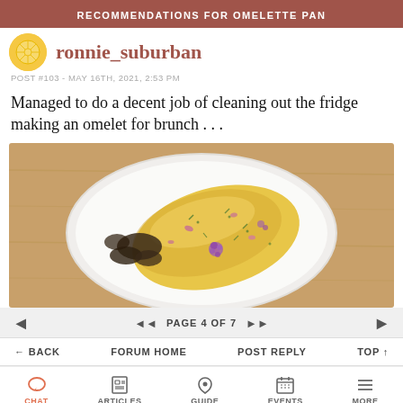RECOMMENDATIONS FOR OMELETTE PAN
ronnie_suburban
POST #103 - MAY 16TH, 2021, 2:53 PM
Managed to do a decent job of cleaning out the fridge making an omelet for brunch . . .
[Figure (photo): Overhead photo of a folded omelet on a round white plate. The omelet is golden-yellow, topped with purple chive flowers, herbs, and dark sautéed mushrooms. The plate sits on a wooden table surface.]
PAGE 4 OF 7
BACK   FORUM HOME   POST REPLY   TOP
CHAT   ARTICLES   GUIDE   EVENTS   MORE